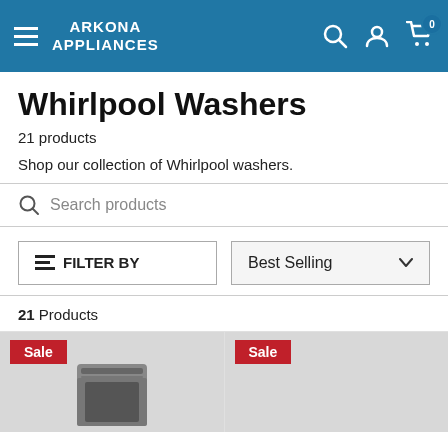ARKONA APPLIANCES
Whirlpool Washers
21 products
Shop our collection of Whirlpool washers.
Search products
FILTER BY
Best Selling
21 Products
[Figure (screenshot): Two product cards with Sale badges showing Whirlpool washers]